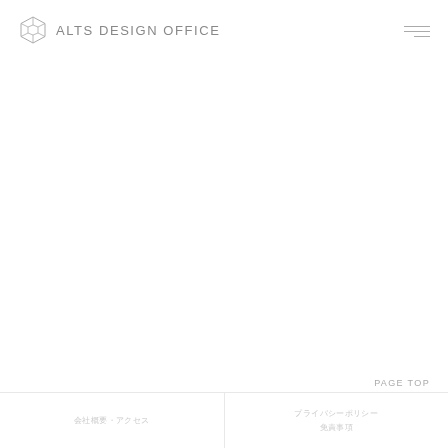ALTS DESIGN OFFICE
PAGE TOP
フッターテキスト左 / フッターテキスト右